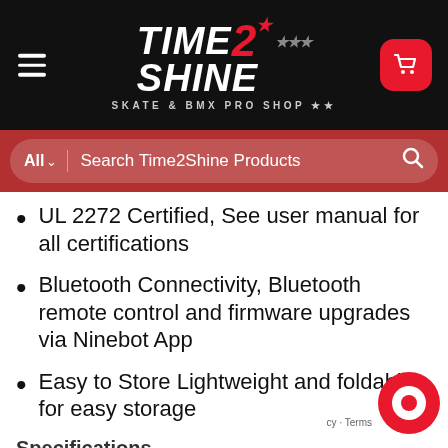Time2Shine Skate & BMX Pro Shop — Navigation header with logo, hamburger menu, and cart button
[Figure (screenshot): Time2Shine Skate & BMX Pro Shop logo with red and white text on black background]
Search Time2Shine Products
UL 2272 Certified, See user manual for all certifications
Bluetooth Connectivity, Bluetooth remote control and firmware upgrades via Ninebot App
Easy to Store Lightweight and foldable for easy storage
Specifications
Weight: ~36 lbs (12.5 kg)